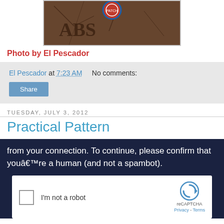[Figure (photo): Partial photo of a rock or dark surface with carved letters and a circular badge/patch at the top, attributed to El Pescador]
Photo by El Pescador
El Pescador at 7:23 AM   No comments:
Share
Tuesday, July 3, 2012
Practical Pattern
[Figure (screenshot): reCAPTCHA verification screenshot with dark blue background showing text: 'from your connection. To continue, please confirm that youâ€™re a human (and not a spambot).' and a white reCAPTCHA checkbox widget with 'I'm not a robot' label and reCAPTCHA logo.]